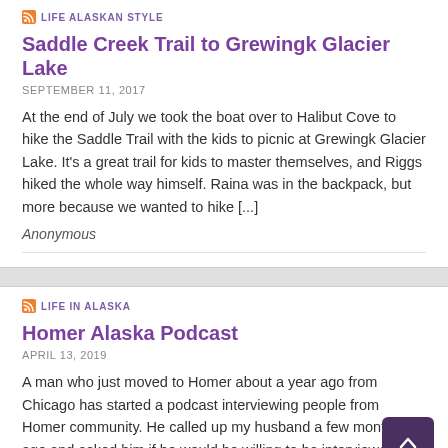LIFE ALASKAN STYLE
Saddle Creek Trail to Grewingk Glacier Lake
SEPTEMBER 11, 2017
At the end of July we took the boat over to Halibut Cove to hike the Saddle Trail with the kids to picnic at Grewingk Glacier Lake. It's a great trail for kids to master themselves, and Riggs hiked the whole way himself. Raina was in the backpack, but more because we wanted to hike [...]
Anonymous
LIFE IN ALASKA
Homer Alaska Podcast
APRIL 13, 2019
A man who just moved to Homer about a year ago from Chicago has started a podcast interviewing people from Homer community. He called up my husband a few months ago and asked him if he would be willing to be interviewed. My